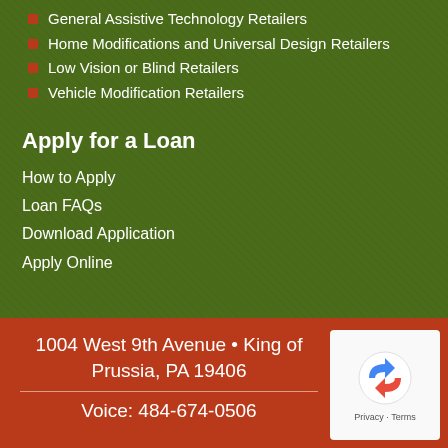General Assistive Technology Retailers
Home Modifications and Universal Design Retailers
Low Vision or Blind Retailers
Vehicle Modification Retailers
Apply for a Loan
How to Apply
Loan FAQs
Download Application
Apply Online
1004 West 9th Avenue • King of Prussia, PA 19406
Voice: 484-674-0506